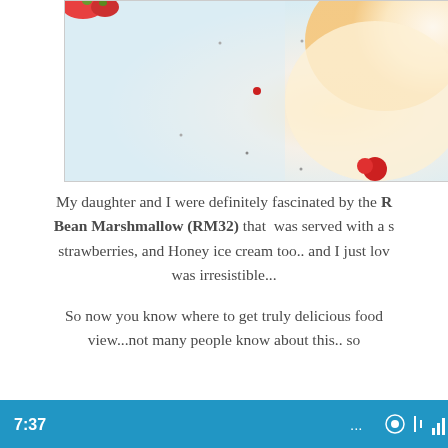[Figure (photo): Dessert photo showing ice cream and strawberries on a light blue and white background, cropped at the top]
My daughter and I were definitely fascinated by the R Bean Marshmallow (RM32) that was served with a s strawberries, and Honey ice cream too.. and I just lov was irresistible...
So now you know where to get truly delicious food view...not many people know about this.. so
[Figure (screenshot): Blue media player bar showing timestamp 7:37 and icons for settings, audio, and signal]